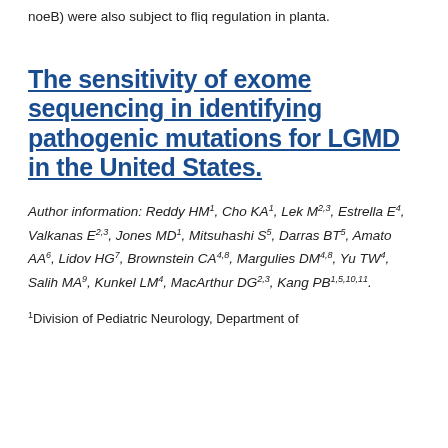noeB) were also subject to fliq regulation in planta.
The sensitivity of exome sequencing in identifying pathogenic mutations for LGMD in the United States.
Author information: Reddy HM1, Cho KA1, Lek M2,3, Estrella E4, Valkanas E2,3, Jones MD1, Mitsuhashi S5, Darras BT5, Amato AA6, Lidov HG7, Brownstein CA4,8, Margulies DM4,8, Yu TW4, Salih MA9, Kunkel LM4, MacArthur DG2,3, Kang PB1,5,10,11.
1Division of Pediatric Neurology, Department of